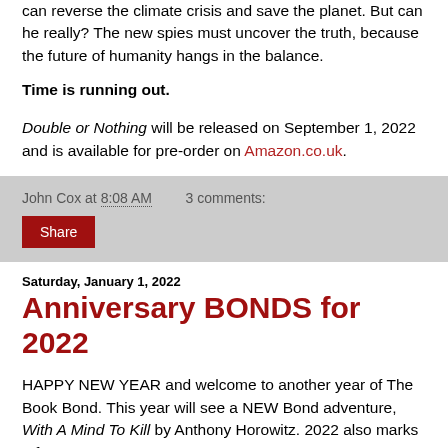can reverse the climate crisis and save the planet. But can he really? The new spies must uncover the truth, because the future of humanity hangs in the balance.
Time is running out.
Double or Nothing will be released on September 1, 2022 and is available for pre-order on Amazon.co.uk.
John Cox at 8:08 AM   3 comments:
Share
Saturday, January 1, 2022
Anniversary BONDS for 2022
HAPPY NEW YEAR and welcome to another year of The Book Bond. This year will see a NEW Bond adventure, With A Mind To Kill by Anthony Horowitz. 2022 also marks a few